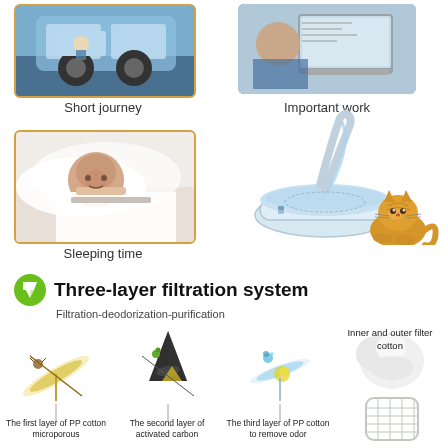[Figure (photo): Person on short journey in vehicle]
Short journey
[Figure (photo): Person doing important work at laptop]
Important work
[Figure (photo): Person sleeping]
[Figure (illustration): Pet water fountain with cat beside it]
Sleeping time
Three-layer filtration system
Filtration-deodorization-purification
[Figure (illustration): First layer filter - PP cotton microporous, Second layer - activated carbon, Third layer - PP cotton to remove odor, and inner/outer filter cotton ball and basket]
The first layer of PP cotton microporous
The second layer of activated carbon
The third layer of PP cotton to remove odor
Inner and outer filter cotton